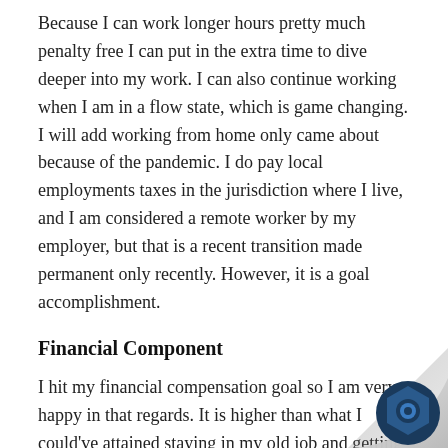Because I can work longer hours pretty much penalty free I can put in the extra time to dive deeper into my work. I can also continue working when I am in a flow state, which is game changing. I will add working from home only came about because of the pandemic. I do pay local employments taxes in the jurisdiction where I live, and I am considered a remote worker by my employer, but that is a recent transition made permanent only recently. However, it is a goal accomplishment.
Financial Component
I hit my financial compensation goal so I am very happy in that regards. It is higher than what I could've attained staying in my old job and getting promoted to a manager. It is actually on par with two promotions from what I did as a financial analyst, which I am not